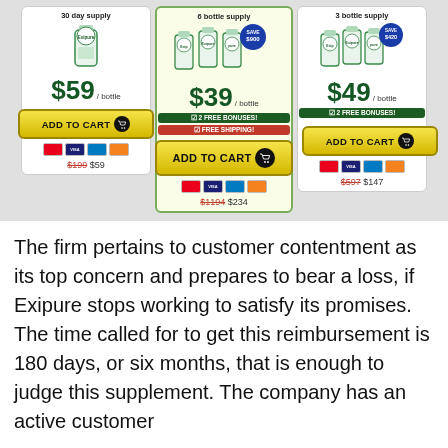[Figure (infographic): Exipure supplement pricing cards showing 3 options: 1 bottle $59, 6 bottles $39/bottle (featured, SAVE $900), 3 bottles $49/bottle. Each card has product images, ADD TO CART button, payment icons, and total price.]
The firm pertains to customer contentment as its top concern and prepares to bear a loss, if Exipure stops working to satisfy its promises. The time called for to get this reimbursement is 180 days, or six months, that is enough to judge this supplement. The company has an active customer